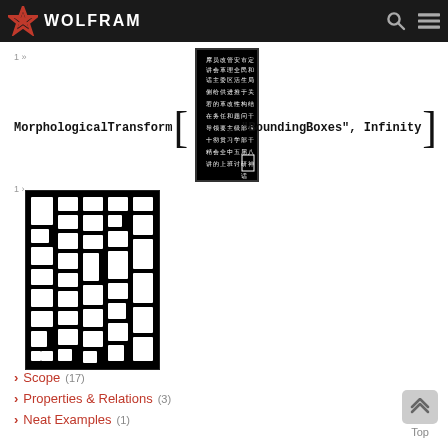WOLFRAM
1 »
[Figure (photo): Chinese text document image used as input]
1 ›
[Figure (photo): Black image with white bounding boxes highlighting regions corresponding to Chinese characters]
› Scope (17)
› Properties & Relations (3)
› Neat Examples (1)